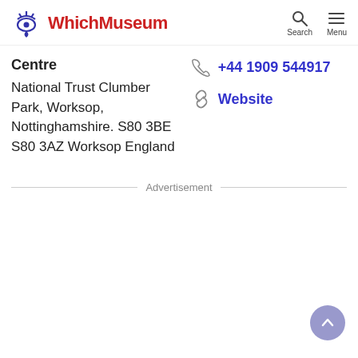WhichMuseum
Centre
National Trust Clumber Park, Worksop, Nottinghamshire. S80 3BE S80 3AZ Worksop England
+44 1909 544917
Website
Advertisement